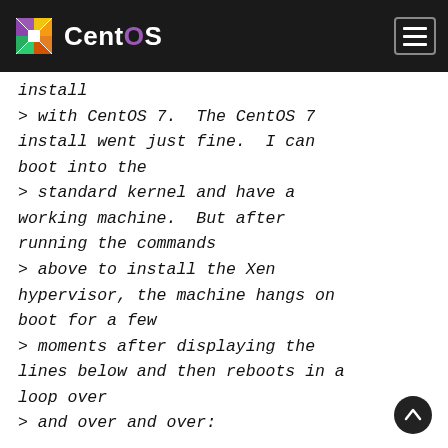CentOS
install
> with CentOS 7.  The CentOS 7 install went just fine.  I can boot into the
> standard kernel and have a working machine.  But after running the commands
> above to install the Xen hypervisor, the machine hangs on boot for a few
> moments after displaying the lines below and then reboots in a loop over
> and over and over: